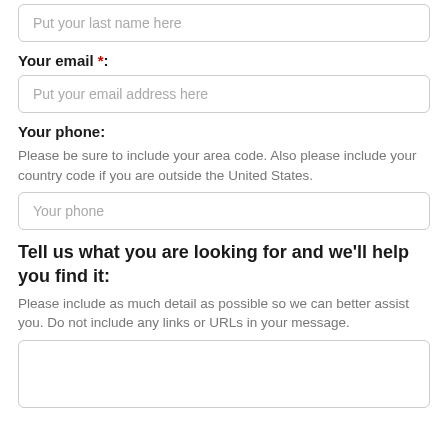Put your last name here
Your email *:
Put your email address here
Your phone:
Please be sure to include your area code. Also please include your country code if you are outside the United States.
Your phone
Tell us what you are looking for and we'll help you find it:
Please include as much detail as possible so we can better assist you. Do not include any links or URLs in your message.